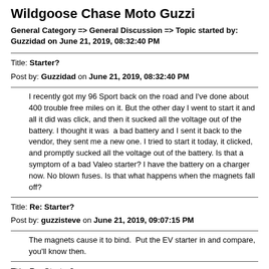Wildgoose Chase Moto Guzzi
General Category => General Discussion => Topic started by: Guzzidad on June 21, 2019, 08:32:40 PM
Title: Starter?
Post by: Guzzidad on June 21, 2019, 08:32:40 PM
I recently got my 96 Sport back on the road and I've done about 400 trouble free miles on it. But the other day I went to start it and all it did was click, and then it sucked all the voltage out of the battery. I thought it was  a bad battery and I sent it back to the vendor, they sent me a new one. I tried to start it today, it clicked, and promptly sucked all the voltage out of the battery. Is that a symptom of a bad Valeo starter? I have the battery on a charger now. No blown fuses. Is that what happens when the magnets fall off?
Title: Re: Starter?
Post by: guzzisteve on June 21, 2019, 09:07:15 PM
The magnets cause it to bind.  Put the EV starter in and compare, you'll know then.
Title: Re: Starter?